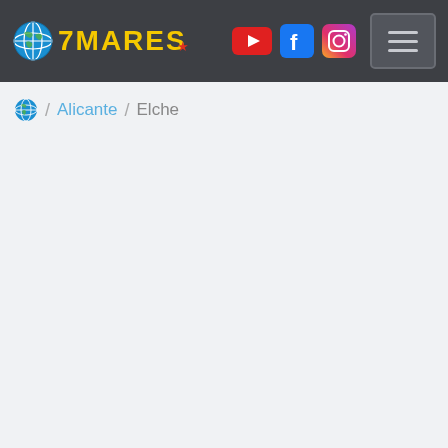7MARES — header navigation bar with logo, social icons (YouTube, Facebook, Instagram), and hamburger menu
🌍 / Alicante / Elche